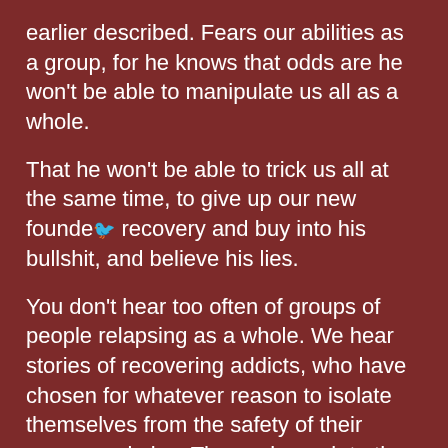earlier described. Fears our abilities as a group, for he knows that odds are he won't be able to manipulate us all as a whole.
That he won't be able to trick us all at the same time, to give up our new founde🐦 recovery and buy into his bullshit, and believe his lies.
You don't hear too often of groups of people relapsing as a whole. We hear stories of recovering addicts, who have chosen for whatever reason to isolate themselves from the safety of their recovery circles. Then sub-comb to the lies addiction has told them. Then, unfortunately, they relapse and sometimes die!!